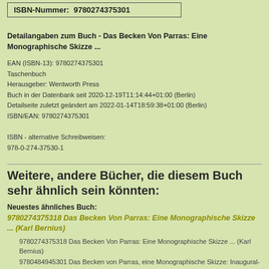ISBN-Nummer: 9780274375301
Detailangaben zum Buch - Das Becken Von Parras: Eine Monographische Skizze ...
EAN (ISBN-13): 9780274375301
Taschenbuch
Herausgeber: Wentworth Press
Buch in der Datenbank seit 2020-12-19T11:14:44+01:00 (Berlin)
Detailseite zuletzt geändert am 2022-01-14T18:59:38+01:00 (Berlin)
ISBN/EAN: 9780274375301

ISBN - alternative Schreibweisen:
978-0-274-37530-1
Weitere, andere Bücher, die diesem Buch sehr ähnlich sein könnten:
Neuestes ähnliches Buch:
9780274375318 Das Becken Von Parras: Eine Monographische Skizze ... (Karl Bernius)
9780274375318 Das Becken Von Parras: Eine Monographische Skizze ... (Karl Bernius)
9780484945301 Das Becken von Parras, eine Monographische Skizze: Inaugural-Dissertation zur Erlangung der Doktorwürde der Hohen Philosophischen Fakultät der ... zu Giessen (Classic Reprint)